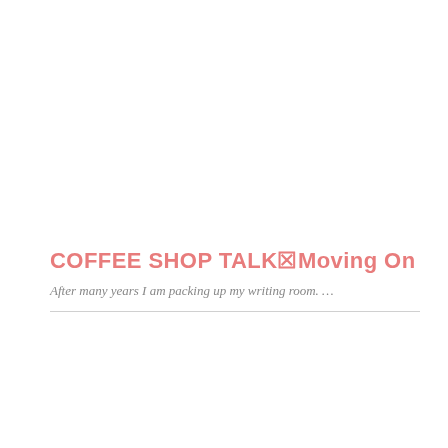COFFEE SHOP TALK☒Moving On
After many years I am packing up my writing room. …